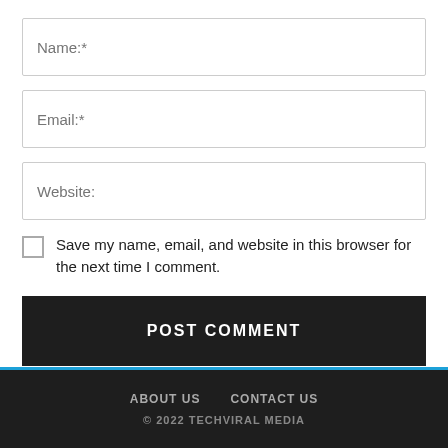Name:*
Email:*
Website:
Save my name, email, and website in this browser for the next time I comment.
POST COMMENT
ABOUT US   CONTACT US
© 2022 TECHVIRAL MEDIA